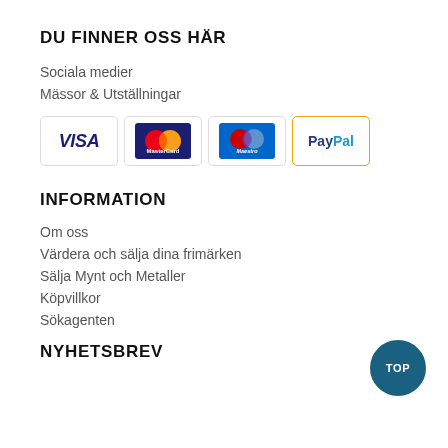DU FINNER OSS HÄR
Sociala medier
Mässor & Utställningar
[Figure (logo): Payment method badges: VISA, MasterCard, Maestro, PayPal]
INFORMATION
Om oss
Värdera och sälja dina frimärken
Sälja Mynt och Metaller
Köpvillkor
Sökagenten
NYHETSBREV
TOP